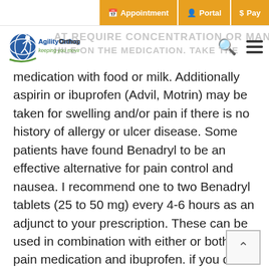Appointment | Portal | $ Pay
[Figure (logo): Agility Orthopedics logo with tagline 'keeping you moving']
AT REQUIRE CONCENTRATION OR MANUAL ... HILE ON THE MEDICATION. Take the medication with food or milk. Additionally aspirin or ibuprofen (Advil, Motrin) may be taken for swelling and/or pain if there is no history of allergy or ulcer disease. Some patients have found Benadryl to be an effective alternative for pain control and nausea. I recommend one to two Benadryl tablets (25 to 50 mg) every 4-6 hours as an adjunct to your prescription. These can be used in combination with either or both the pain medication and ibuprofen. if you do not have any allergies to or difficulties with these.
Driving